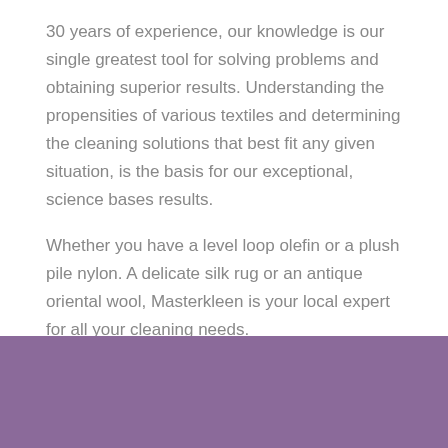30 years of experience, our knowledge is our single greatest tool for solving problems and obtaining superior results. Understanding the propensities of various textiles and determining the cleaning solutions that best fit any given situation, is the basis for our exceptional, science bases results.
Whether you have a level loop olefin or a plush pile nylon. A delicate silk rug or an antique oriental wool, Masterkleen is your local expert for all your cleaning needs.
[Figure (other): Purple/mauve colored rectangular banner section at the bottom of the page]